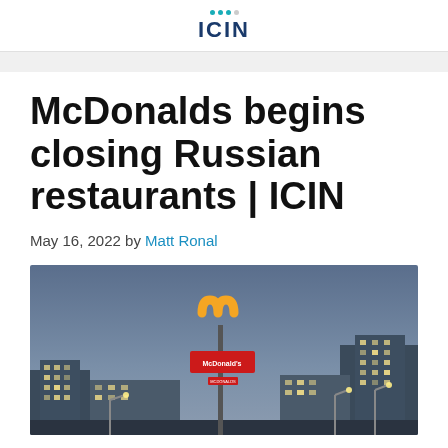ICIN
McDonalds begins closing Russian restaurants | ICIN
May 16, 2022 by Matt Ronal
[Figure (photo): Nighttime or dusk photo of a McDonald's sign illuminated in yellow and red, mounted high on a pole, with city buildings and street lights visible in the background against a blue-grey sky.]